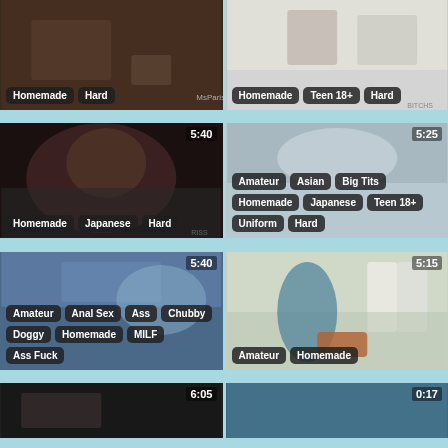[Figure (screenshot): Video thumbnail - dark bedroom scene, no timer shown]
Homemade, Hard
[Figure (screenshot): Video thumbnail - light room scene, no timer shown]
Homemade, Teen 18+, Hard
[Figure (screenshot): Video thumbnail - Japanese woman closeup, timer 5:40]
Homemade, Japanese, Hard
[Figure (screenshot): Video thumbnail - Asian scene, timer 5:25]
Amateur, Asian, Big Tits, Homemade, Japanese, Teen 18+, Uniform, Hard
[Figure (screenshot): Video thumbnail - outdoor scene, timer 5:40]
Amateur, Anal Sex, Ass, Chubby, Doggy, Homemade, MILF, Ass Fuck
[Figure (screenshot): Video thumbnail - kitchen scene woman in blue top, timer 5:15]
Amateur, Homemade
[Figure (screenshot): Video thumbnail - dark scene, timer 6:05]
[Figure (screenshot): Video thumbnail - colorful scene, timer 0:17]